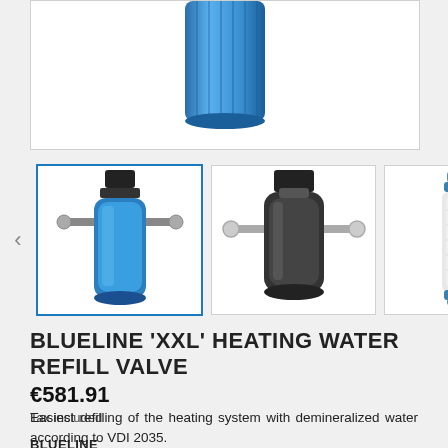[Figure (photo): Blue cylindrical water filter/tank shown partially at top of product image area]
[Figure (photo): Thumbnail 1 (selected): Blue water filter housing with valve connections - Blueline XXL heating water refill valve]
[Figure (photo): Thumbnail 2: Black water filter housing with metal valve connections]
[Figure (photo): Thumbnail 3: White/grey cylindrical filter cartridge with blue end cap]
[Figure (photo): Thumbnail 4 (partial): Partially visible product image]
BLUELINE 'XXL' HEATING WATER REFILL VALVE
€581.91
Tax included
Easiest refilling of the heating system with demineralized water according to VDI 2035.
BLUELINE